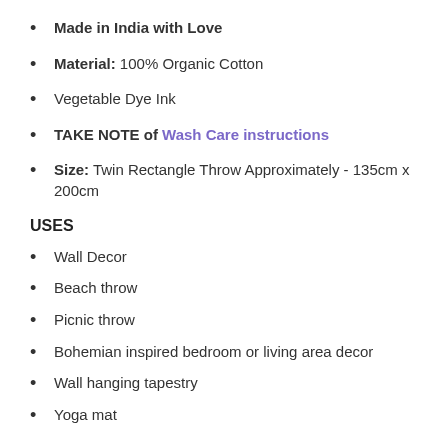Made in India with Love
Material: 100% Organic Cotton
Vegetable Dye Ink
TAKE NOTE of Wash Care instructions
Size: Twin Rectangle Throw Approximately - 135cm x 200cm
USES
Wall Decor
Beach throw
Picnic throw
Bohemian inspired bedroom or living area decor
Wall hanging tapestry
Yoga mat